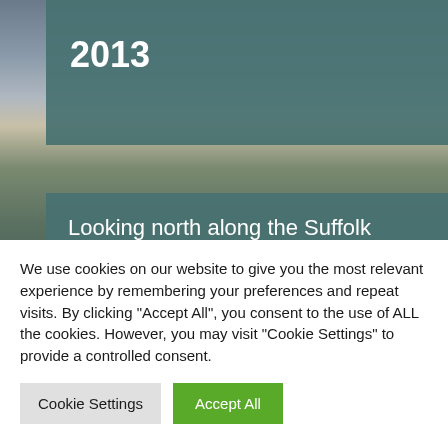[Figure (photo): Coastal landscape background photo showing the Suffolk coast at dusk/dawn with sky and water]
2013
Looking north along the Suffolk coast, the club entered into discussions with the Benacre estate and secured shooting rights over a large block of freshwater grazing marshes at Kessingland, north of the Hundred River. Meanwhile it also leased a
We use cookies on our website to give you the most relevant experience by remembering your preferences and repeat visits. By clicking "Accept All", you consent to the use of ALL the cookies. However, you may visit "Cookie Settings" to provide a controlled consent.
Cookie Settings
Accept All